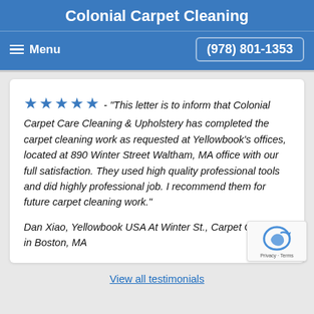Colonial Carpet Cleaning
Menu
(978) 801-1353
★★★★★ - "This letter is to inform that Colonial Carpet Care Cleaning & Upholstery has completed the carpet cleaning work as requested at Yellowbook's offices, located at 890 Winter Street Waltham, MA office with our full satisfaction. They used high quality professional tools and did highly professional job. I recommend them for future carpet cleaning work."
Dan Xiao, Yellowbook USA At Winter St., Carpet Cleaning in Boston, MA
View all testimonials